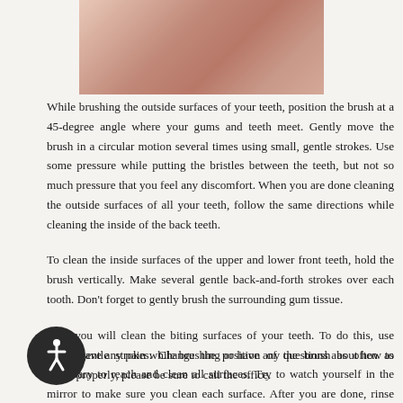[Figure (photo): Photo of a young woman with dark hair holding a toothbrush, wearing a striped top, cropped to show upper body]
While brushing the outside surfaces of your teeth, position the brush at a 45-degree angle where your gums and teeth meet. Gently move the brush in a circular motion several times using small, gentle strokes. Use some pressure while putting the bristles between the teeth, but not so much pressure that you feel any discomfort. When you are done cleaning the outside surfaces of all your teeth, follow the same directions while cleaning the inside of the back teeth.
To clean the inside surfaces of the upper and lower front teeth, hold the brush vertically. Make several gentle back-and-forth strokes over each tooth. Don’t forget to gently brush the surrounding gum tissue.
Next you will clean the biting surfaces of your teeth. To do this, use short, gentle strokes. Change the position of the brush as often as necessary to reach and clean all surfaces. Try to watch yourself in the mirror to make sure you clean each surface. After you are done, rinse vigorously to remove any plaque you might have loosened while brushing.
If you have any pain while brushing or have any questions about how to brush properly, please be sure to call the office.